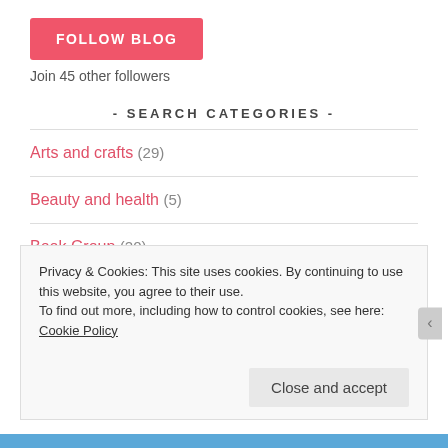[Figure (other): Pink FOLLOW BLOG button]
Join 45 other followers
- SEARCH CATEGORIES -
Arts and crafts (29)
Beauty and health (5)
Book Group (20)
Privacy & Cookies: This site uses cookies. By continuing to use this website, you agree to their use. To find out more, including how to control cookies, see here: Cookie Policy
Close and accept